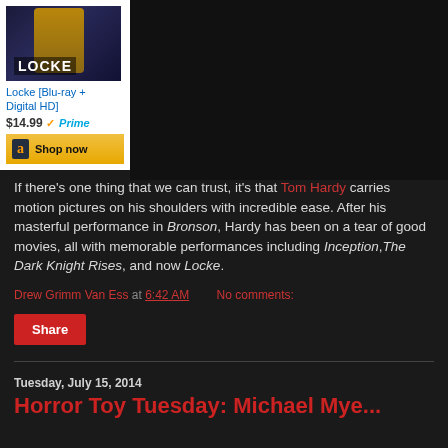[Figure (photo): Amazon widget showing movie 'Locke' Blu-ray + Digital HD product listing with price $14.99 and Prime logo, plus Shop now button with Amazon logo]
If there's one thing that we can trust, it's that Tom Hardy carries motion pictures on his shoulders with incredible ease. After his masterful performance in Bronson, Hardy has been on a tear of good movies, all with memorable performances including Inception, The Dark Knight Rises, and now Locke.
Drew Grimm Van Ess at 6:42 AM   No comments:
Share
Tuesday, July 15, 2014
Horror Toy Tuesday: Michael Mye...